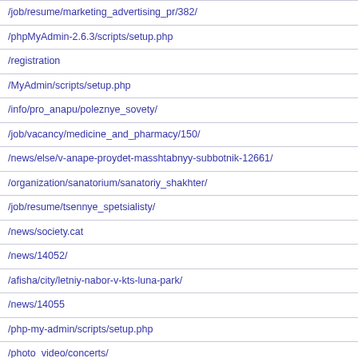/job/resume/marketing_advertising_pr/382/
/phpMyAdmin-2.6.3/scripts/setup.php
/registration
/MyAdmin/scripts/setup.php
/info/pro_anapu/poleznye_sovety/
/job/vacancy/medicine_and_pharmacy/150/
/news/else/v-anape-proydet-masshtabnyy-subbotnik-12661/
/organization/sanatorium/sanatoriy_shakhter/
/job/resume/tsennye_spetsialisty/
/news/society.cat
/news/14052/
/afisha/city/letniy-nabor-v-kts-luna-park/
/news/14055
/php-my-admin/scripts/setup.php
/photo_video/concerts/
/photoreports/sport/458/
/websql/scripts/setup.php
/tv/kompanii/anapa_region/